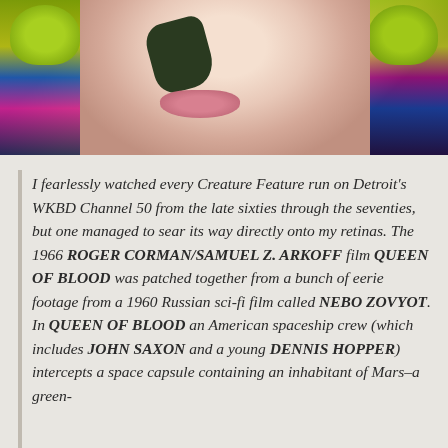[Figure (photo): A colorful photo of a person in costume/makeup with bright green frog-like costume elements on the sides and face paint, showing lips and partial face]
I fearlessly watched every Creature Feature run on Detroit's WKBD Channel 50 from the late sixties through the seventies, but one managed to sear its way directly onto my retinas. The 1966 ROGER CORMAN/SAMUEL Z. ARKOFF film QUEEN OF BLOOD was patched together from a bunch of eerie footage from a 1960 Russian sci-fi film called NEBO ZOVYOT. In QUEEN OF BLOOD an American spaceship crew (which includes JOHN SAXON and a young DENNIS HOPPER) intercepts a space capsule containing an inhabitant of Mars–a green-